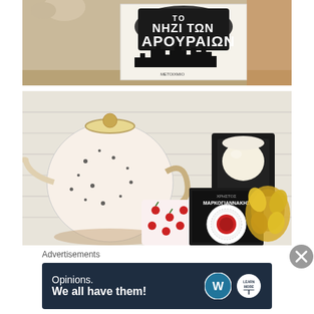[Figure (photo): Photo of a book titled 'TO NHZI TON APOYPAION ISTORIPES' by METOIXMIO, showing the cover with city skyline silhouette and bold white text on dark background, placed on a shelf with a cat visible in the upper corner]
[Figure (photo): Flat-lay photo on white wood surface showing a spotted teapot, a white candle on dark coaster, a book by XRHSTOS MARKOGIANNNAKHS with a rosette cover design, a floral fabric pouch, and a floral scrunchie]
Advertisements
[Figure (other): Advertisement banner with dark navy background reading 'Opinions. We all have them!' with WordPress logo and another circular logo on the right]